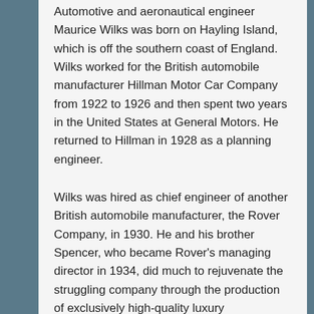Automotive and aeronautical engineer Maurice Wilks was born on Hayling Island, which is off the southern coast of England. Wilks worked for the British automobile manufacturer Hillman Motor Car Company from 1922 to 1926 and then spent two years in the United States at General Motors. He returned to Hillman in 1928 as a planning engineer.
Wilks was hired as chief engineer of another British automobile manufacturer, the Rover Company, in 1930. He and his brother Spencer, who became Rover's managing director in 1934, did much to rejuvenate the struggling company through the production of exclusively high-quality luxury automobiles.
During World War II, Maurice Wilks took the lead at Rover in developing gas turbine aircraft engines